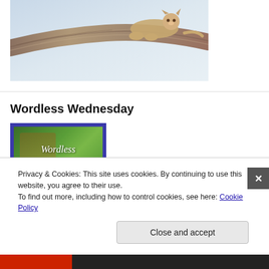[Figure (illustration): Illustration of a lion cub resting on a gnarled tree branch, rendered in colored pencil or watercolor style with blue-grey background]
Wordless Wednesday
[Figure (illustration): Thumbnail image with purple border showing 'Wordless Wednesday' text in cursive over a green forest/bluebell woodland scene]
Privacy & Cookies: This site uses cookies. By continuing to use this website, you agree to their use.
To find out more, including how to control cookies, see here: Cookie Policy
Close and accept